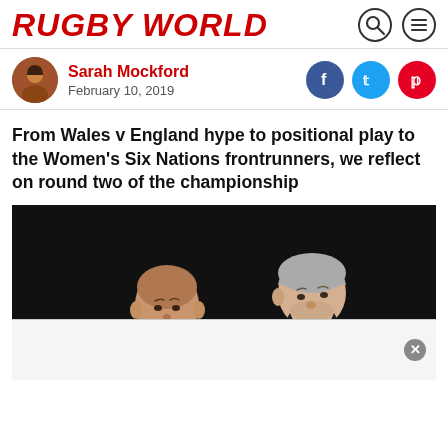RUGBY WORLD
Sarah Mockford
February 10, 2019
From Wales v England hype to positional play to the Women's Six Nations frontrunners, we reflect on round two of the championship
[Figure (photo): Two men in dark suits standing close together facing each other; one shorter man on the left with a shaved head in a light blue shirt, and a taller man on the right with grey hair wearing a red tie, photographed against a black background.]